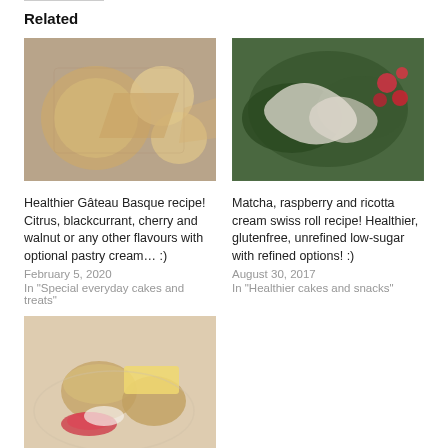Related
[Figure (photo): Photo of Gateau Basque cake sliced on white plates on wooden table]
[Figure (photo): Photo of matcha swiss roll slices with raspberry and cream filling, raspberries on white lace]
Healthier Gâteau Basque recipe! Citrus, blackcurrant, cherry and walnut or any other flavours with optional pastry cream… :)
February 5, 2020
In "Special everyday cakes and treats"
Matcha, raspberry and ricotta cream swiss roll recipe! Healthier, glutenfree, unrefined low-sugar with refined options! :)
August 30, 2017
In "Healthier cakes and snacks"
[Figure (photo): Photo of spelt scones with butter and jam on a floral plate]
A simple spelt scones recipe